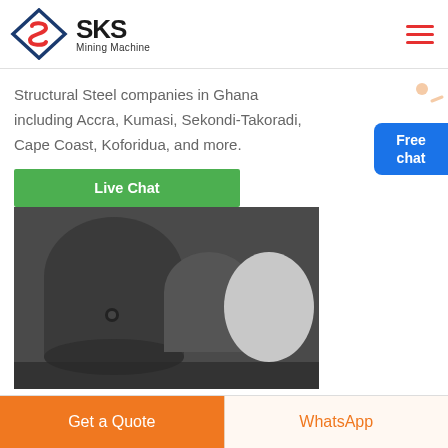SKS Mining Machine
Structural Steel companies in Ghana including Accra, Kumasi, Sekondi-Takoradi, Cape Coast, Koforidua, and more.
[Figure (screenshot): Blue button with person icon labeled 'Free chat' on right side]
[Figure (photo): Industrial equipment - dark grey metal tanks/pressure vessels inside machinery]
Live Chat
Get a Quote
WhatsApp